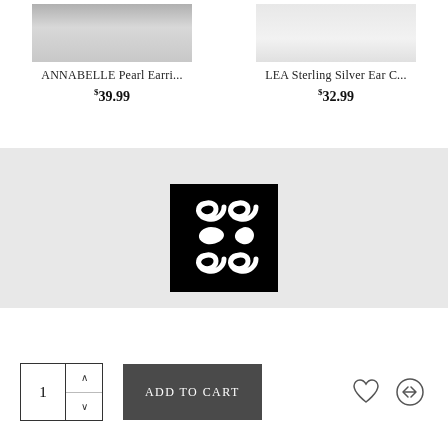ANNABELLE Pearl Earri...
$39.99
LEA Sterling Silver Ear C...
$32.99
[Figure (logo): Black square with a white ornamental/knot-work logo mark featuring intertwined S-shaped or scroll-like forms arranged vertically]
ADD TO CART